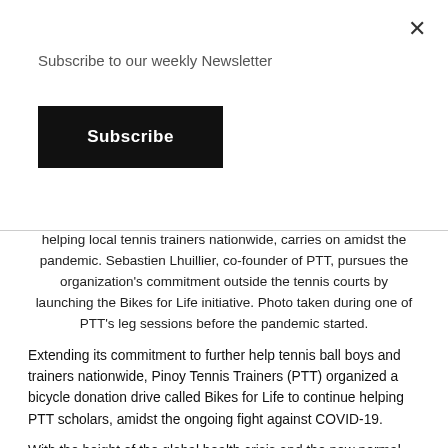Subscribe to our weekly Newsletter
Subscribe
helping local tennis trainers nationwide, carries on amidst the pandemic. Sebastien Lhuillier, co-founder of PTT, pursues the organization's commitment outside the tennis courts by launching the Bikes for Life initiative. Photo taken during one of PTT's leg sessions before the pandemic started.
Extending its commitment to further help tennis ball boys and trainers nationwide, Pinoy Tennis Trainers (PTT) organized a bicycle donation drive called Bikes for Life to continue helping PTT scholars, amidst the ongoing fight against COVID-19.
With the height of the global health crisis and the new normal setup, sports events and activities have been affected. PTT trainers were restricted from doing their regular training sessions, which badly disrupted their main source of income. PTT decided to start the bicycle donation drive to help their trainers and scholars be